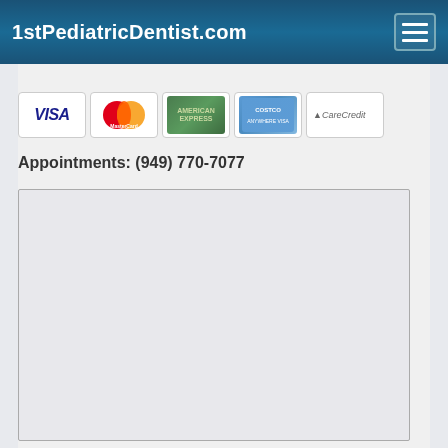1stPediatricDentist.com
[Figure (other): Payment method logos: VISA, MasterCard, American Express, Costco/Citi card, CareCredit]
Appointments: (949) 770-7077
[Figure (other): Embedded map or content area (blank/loading)]